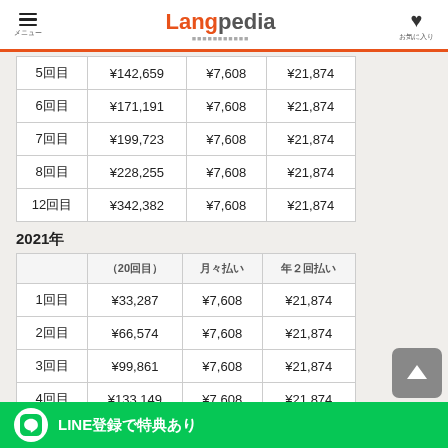Langpedia
|  | （20回）} | 月々払い | 年２回払い |
| --- | --- | --- | --- |
| 5回目 | ¥142,659 | ¥7,608 | ¥21,874 |
| 6回目 | ¥171,191 | ¥7,608 | ¥21,874 |
| 7回目 | ¥199,723 | ¥7,608 | ¥21,874 |
| 8回目 | ¥228,255 | ¥7,608 | ¥21,874 |
| 12回目 | ¥342,382 | ¥7,608 | ¥21,874 |
2021年
|  | （20回目） | 月々払い | 年２回払い |
| --- | --- | --- | --- |
| 1回目 | ¥33,287 | ¥7,608 | ¥21,874 |
| 2回目 | ¥66,574 | ¥7,608 | ¥21,874 |
| 3回目 | ¥99,861 | ¥7,608 | ¥21,874 |
| 4回目 | ¥133,149 | ¥7,608 | ¥21,874 |
| 5回目 | ¥166,436 | ¥7,608 | ¥21,874 |
| 6回目 | ¥199,723 | ¥7,608 | ¥21,874 |
| 7回目 | ¥233,010 | ¥7,608 | ¥21,874 |
| 8回目 | ¥266,297 | ¥7,608 | ¥21,874 |